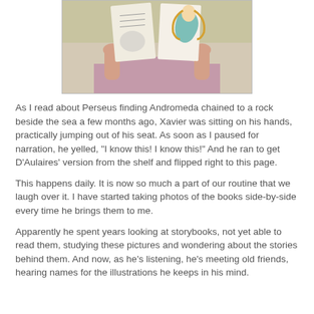[Figure (photo): A person lying down holding an open illustrated book up in front of their face, obscuring their head. The book shows colorful illustrated pages with what appears to be a figure with flowing hair.]
As I read about Perseus finding Andromeda chained to a rock beside the sea a few months ago, Xavier was sitting on his hands, practically jumping out of his seat. As soon as I paused for narration, he yelled, "I know this! I know this!" And he ran to get D'Aulaires' version from the shelf and flipped right to this page.
This happens daily. It is now so much a part of our routine that we laugh over it. I have started taking photos of the books side-by-side every time he brings them to me.
Apparently he spent years looking at storybooks, not yet able to read them, studying these pictures and wondering about the stories behind them. And now, as he's listening, he's meeting old friends, hearing names for the illustrations he keeps in his mind.